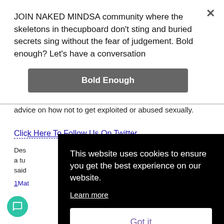JOIN NAKED MINDSA community where the skeletons in thecupboard don't sting and buried secrets sing without the fear of judgement. Bold enough? Let's have a conversation
Bold Enough
advice on how not to get exploited or abused sexually.
Click Here To Follow Us On Twitter
Des a tu said
1Mat
This website uses cookies to ensure you get the best experience on our website.
Learn more
Got it